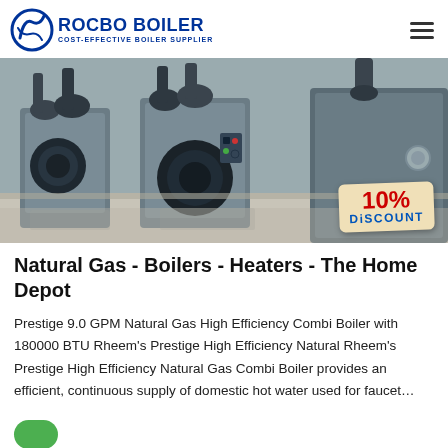ROCBO BOILER — COST-EFFECTIVE BOILER SUPPLIER
[Figure (photo): Industrial natural gas boilers in a clean facility, showing multiple large boiler units with dark blue burner heads and metalwork. A 10% DISCOUNT badge is overlaid in the bottom right corner.]
Natural Gas - Boilers - Heaters - The Home Depot
Prestige 9.0 GPM Natural Gas High Efficiency Combi Boiler with 180000 BTU Rheem's Prestige High Efficiency Natural Rheem's Prestige High Efficiency Natural Gas Combi Boiler provides an efficient, continuous supply of domestic hot water used for faucet...